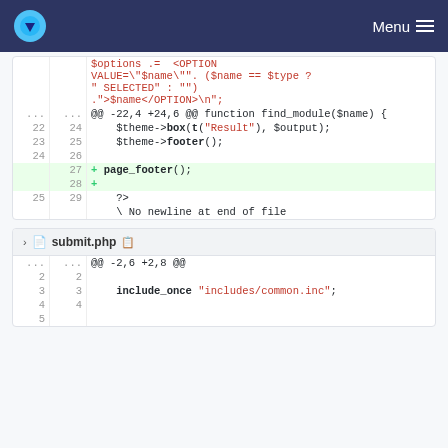Menu
[Figure (screenshot): Code diff view showing PHP code changes. First diff block shows lines around function find_module($name) with added lines: page_footer(); and a blank line. Second diff block header shows submit.php file with lines showing include_once "includes/common.inc";]
submit.php